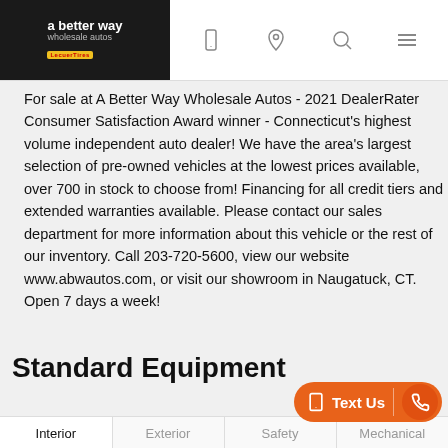a better way wholesale autos
For sale at A Better Way Wholesale Autos - 2021 DealerRater Consumer Satisfaction Award winner - Connecticut's highest volume independent auto dealer!  We have the area's largest selection of pre-owned vehicles at the lowest prices available, over 700 in stock to choose from!  Financing for all credit tiers and extended warranties available.  Please contact our sales department for more information about this vehicle or the rest of our inventory.  Call 203-720-5600, view our website www.abwautos.com, or visit our showroom in Naugatuck, CT.  Open 7 days a week!
Standard Equipment
| Interior | Exterior | Safety | Mechanical |
| --- | --- | --- | --- |